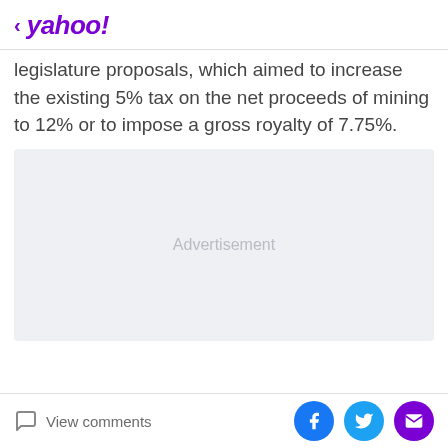< yahoo!
legislature proposals, which aimed to increase the existing 5% tax on the net proceeds of mining to 12% or to impose a gross royalty of 7.75%.
[Figure (other): Advertisement placeholder box with light gray background]
View comments | Facebook | Twitter | Email